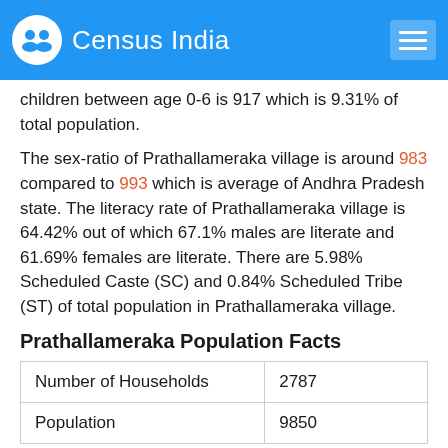Census India
children between age 0-6 is 917 which is 9.31% of total population.
The sex-ratio of Prathallameraka village is around 983 compared to 993 which is average of Andhra Pradesh state. The literacy rate of Prathallameraka village is 64.42% out of which 67.1% males are literate and 61.69% females are literate. There are 5.98% Scheduled Caste (SC) and 0.84% Scheduled Tribe (ST) of total population in Prathallameraka village.
Prathallameraka Population Facts
|  |  |
| --- | --- |
| Number of Households | 2787 |
| Population | 9850 |